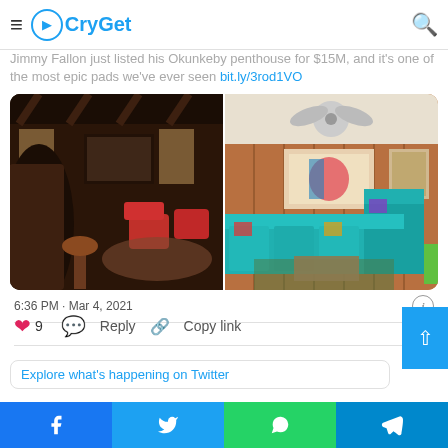CryGet
Jimmy Fallon just listed his Okunkeby penthouse for $15M, and it's one of the most epic pads we've ever seen bit.ly/3rod1VO
[Figure (photo): Two interior photos side by side: left shows a dark wood-paneled bar/lounge with red armchairs and ornate ceiling beams; right shows a bright room with turquoise sectional sofa, wood-paneled walls and colorful artwork]
6:36 PM · Mar 4, 2021
9   Reply   Copy link
Explore what's happening on Twitter
Facebook  Twitter  WhatsApp  Telegram